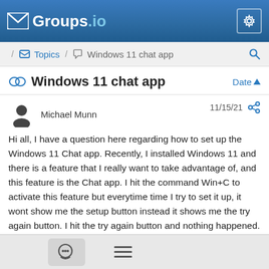Groups.io
/ Topics / Windows 11 chat app
Windows 11 chat app
Michael Munn  11/15/21
Hi all, I have a question here regarding how to set up the Windows 11 Chat app. Recently, I installed Windows 11 and there is a feature that I really want to take advantage of, and this feature is the Chat app. I hit the command Win+C to activate this feature but everytime time I try to set it up, it wont show me the setup button instead it shows me the try again button. I hit the try again button and nothing happened.
If you have configured the Windows 11 chat app before, can you